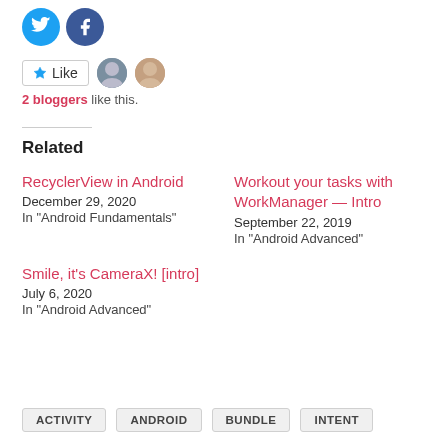[Figure (other): Twitter and Facebook social share icon buttons (circular, blue background)]
[Figure (other): Like button with star icon and two blogger avatar thumbnails]
2 bloggers like this.
Related
RecyclerView in Android
December 29, 2020
In "Android Fundamentals"
Workout your tasks with WorkManager — Intro
September 22, 2019
In "Android Advanced"
Smile, it's CameraX! [intro]
July 6, 2020
In "Android Advanced"
ACTIVITY
ANDROID
BUNDLE
INTENT